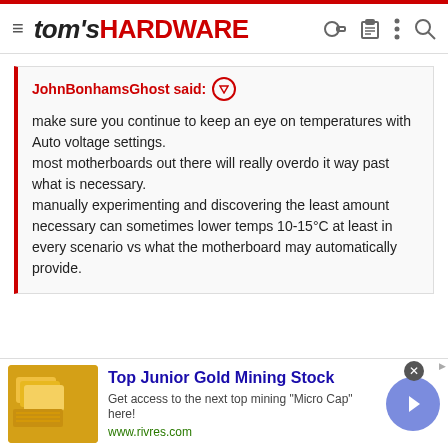tom's HARDWARE
JohnBonhamsGhost said: ↑

make sure you continue to keep an eye on temperatures with Auto voltage settings.
most motherboards out there will really overdo it way past what is necessary.
manually experimenting and discovering the least amount necessary can sometimes lower temps 10-15°C at least in every scenario vs what the motherboard may automatically provide.
Hi thanks.
Yea I've got hw monitor running in the background. It's not gone over 70c yet. I think most of that heat is from the gpu as my radiator is
[Figure (screenshot): Advertisement banner: Top Junior Gold Mining Stock - Get access to the next top mining "Micro Cap" here! www.rivres.com - with gold bars image and navigation arrow button]